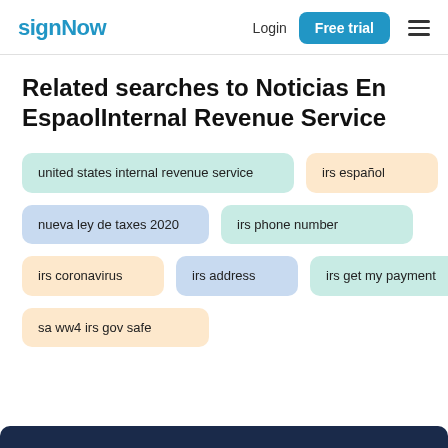signNow | Login | Free trial
Related searches to Noticias En EspaolInternal Revenue Service
united states internal revenue service
irs español
nueva ley de taxes 2020
irs phone number
irs coronavirus
irs address
irs get my payment
sa ww4 irs gov safe